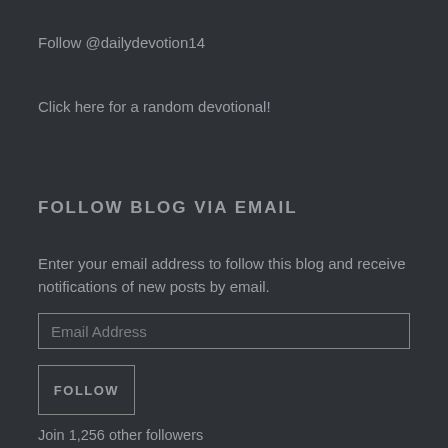Follow @dailydevotion14
Click here for a random devotional!
FOLLOW BLOG VIA EMAIL
Enter your email address to follow this blog and receive notifications of new posts by email.
Email Address
FOLLOW
Join 1,256 other followers